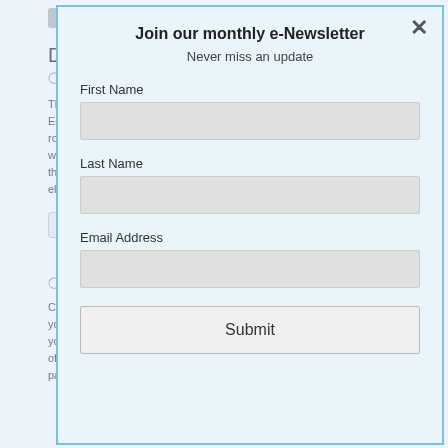Dorothy stott
November 17, 2018 at 10:48 pm
This is s... Eckhart... rooted i... when yo... then if y... else for...
Reply
Fe...
Can... you... you... of y... pay...
Join our monthly e-Newsletter
Never miss an update
First Name
Last Name
Email Address
Submit